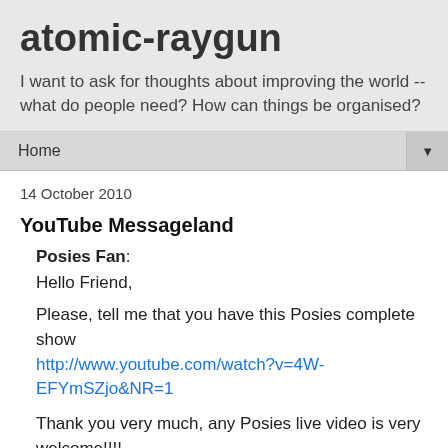atomic-raygun
I want to ask for thoughts about improving the world -- what do people need? How can things be organised?
Home ▼
14 October 2010
YouTube Messageland
Posies Fan:
Hello Friend,
Please, tell me that you have this Posies complete show http://www.youtube.com/watch?v=4W-EFYmSZjo&NR=1
Thank you very much, any Posies live video is very welcome!!!!